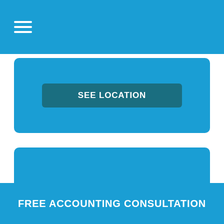[Figure (screenshot): SEE LOCATION button on blue card (top, partially visible)]
Accountants Buckingham
[Figure (screenshot): SEE LOCATION button on second blue card]
FREE ACCOUNTING CONSULTATION